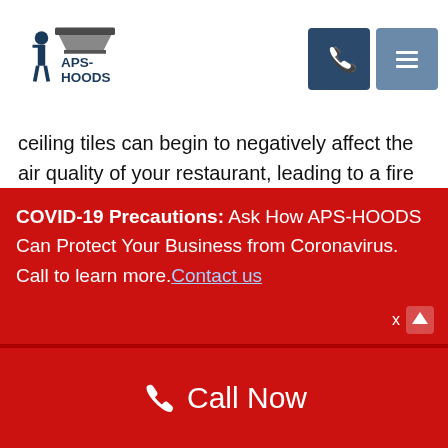APS-HOODS
ceiling tiles can begin to negatively affect the air quality of your restaurant, leading to a fire hazard and failed health inspections.
Whether you have your staff clean the tiles or you hire a professional janitorial service, make sure the following steps are performed. Missing even a single step can leave your restaurant susceptible to disaster, and you may end up turning off your customers.
COVID-19 Precautions: Ask How APS-HOODS Can Protect Your Business from Coronavirus. Call to learn more. Contact us
Call Now